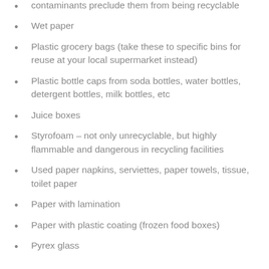contaminants preclude them from being recyclable
Wet paper
Plastic grocery bags (take these to specific bins for reuse at your local supermarket instead)
Plastic bottle caps from soda bottles, water bottles, detergent bottles, milk bottles, etc
Juice boxes
Styrofoam – not only unrecyclable, but highly flammable and dangerous in recycling facilities
Used paper napkins, serviettes, paper towels, tissue, toilet paper
Paper with lamination
Paper with plastic coating (frozen food boxes)
Pyrex glass